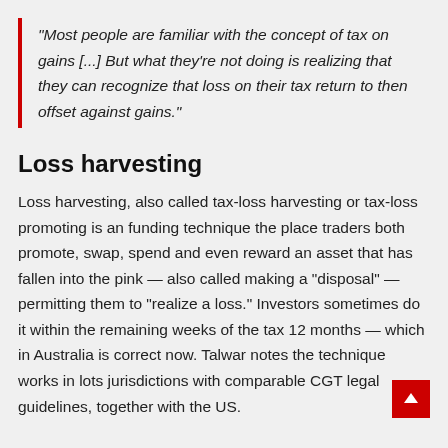“Most people are familiar with the concept of tax on gains [...] But what they’re not doing is realizing that they can recognize that loss on their tax return to then offset against gains.”
Loss harvesting
Loss harvesting, also called tax-loss harvesting or tax-loss promoting is an funding technique the place traders both promote, swap, spend and even reward an asset that has fallen into the pink — also called making a “disposal” — permitting them to “realize a loss.” Investors sometimes do it within the remaining weeks of the tax 12 months — which in Australia is correct now. Talwar notes the technique works in lots jurisdictions with comparable CGT legal guidelines, together with the US.